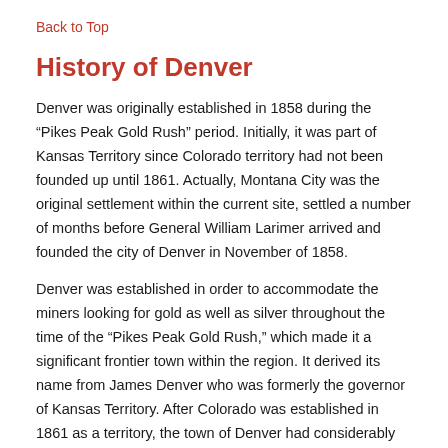Back to Top
History of Denver
Denver was originally established in 1858 during the “Pikes Peak Gold Rush” period. Initially, it was part of Kansas Territory since Colorado territory had not been founded up until 1861. Actually, Montana City was the original settlement within the current site, settled a number of months before General William Larimer arrived and founded the city of Denver in November of 1858.
Denver was established in order to accommodate the miners looking for gold as well as silver throughout the time of the “Pikes Peak Gold Rush,” which made it a significant frontier town within the region. It derived its name from James Denver who was formerly the governor of Kansas Territory. After Colorado was established in 1861 as a territory, the town of Denver had considerably progressed and by 1863,